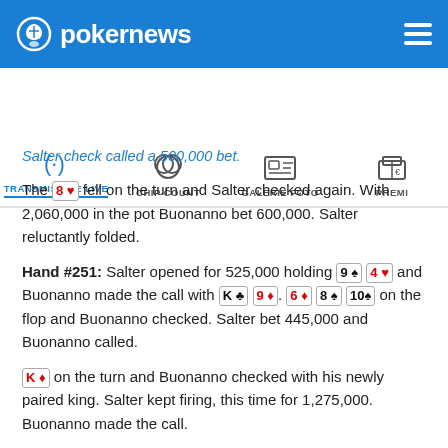pokernews
TRANSMISIUNE LIVE | CHIP COUNT | GALERIE FOTO | PREMI
Salter check called a 500,000 bet.
The 8♥ fell on the turn and Salter checked again. With 2,060,000 in the pot Buonanno bet 600,000. Salter reluctantly folded.
Hand #251: Salter opened for 525,000 holding 9♠ 4♥ and Buonanno made the call with K♣ 9♦. 6♦ 8♠ 10♠ on the flop and Buonanno checked. Salter bet 445,000 and Buonanno called.
K♦ on the turn and Buonanno checked with his newly paired king. Salter kept firing, this time for 1,275,000. Buonanno made the call.